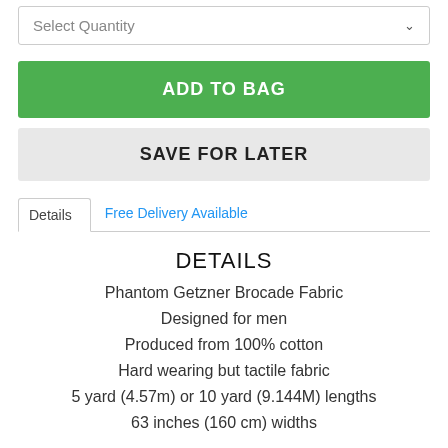Select Quantity
ADD TO BAG
SAVE FOR LATER
Details | Free Delivery Available
DETAILS
Phantom Getzner Brocade Fabric
Designed for men
Produced from 100% cotton
Hard wearing but tactile fabric
5 yard (4.57m) or 10 yard (9.144M) lengths
63 inches (160 cm) widths